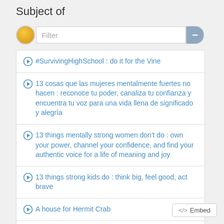Subject of
#SurvivingHighSchool : do it for the Vine
13 cosas que las mujeres mentalmente fuertes no hacen : reconoce tu poder, canaliza tu confianza y encuentra tu voz para una vida llena de significado y alegría
13 things mentally strong women don't do : own your power, channel your confidence, and find your authentic voice for a life of meaning and joy
13 things strong kids do : think big, feel good, act brave
A house for Hermit Crab
A night out with Mama
</> Embed